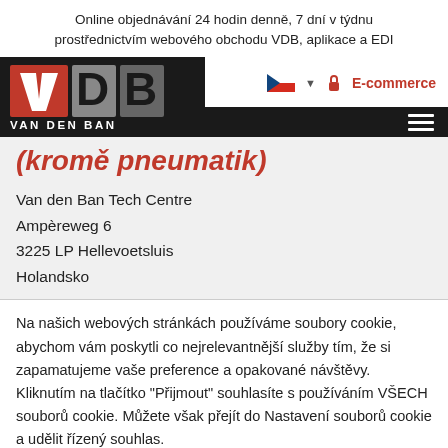Online objednávání 24 hodin denně, 7 dní v týdnu prostřednictvím webového obchodu VDB, aplikace a EDI
[Figure (logo): Van den Ban logo - VDB stylized letters in red and grey on dark background, with text VAN DEN BAN]
[Figure (screenshot): Header navigation with Czech flag, dropdown arrow, lock icon and E-commerce label, hamburger menu]
(kromě pneumatik)
Van den Ban Tech Centre
Ampèreweg 6
3225 LP Hellevoetsluis
Holandsko
Na našich webových stránkách používáme soubory cookie, abychom vám poskytli co nejrelevantnější služby tím, že si zapamatujeme vaše preference a opakované návštěvy. Kliknutím na tlačítko "Přijmout" souhlasíte s používáním VŠECH souborů cookie. Můžete však přejít do Nastavení souborů cookie a udělit řízený souhlas.
Nastavení souborů cookie | Přijmout